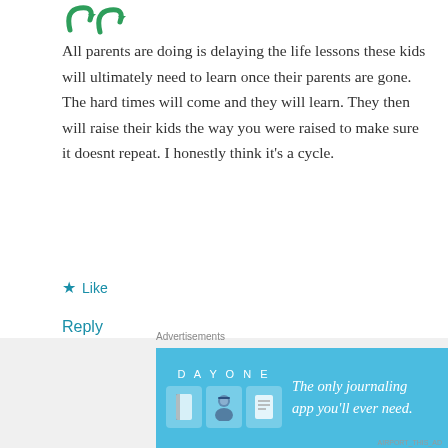[Figure (logo): Green decorative icon/logo marks partially visible at top left]
All parents are doing is delaying the life lessons these kids will ultimately need to learn once their parents are gone. The hard times will come and they will learn. They then will raise their kids the way you were raised to make sure it doesnt repeat. I honestly think it’s a cycle.
★ Like
Reply
Advertisements
[Figure (screenshot): Advertisement box showing P2 logo and text 'Getting your team on']
Advertisements
[Figure (screenshot): DAY ONE app advertisement banner - 'The only journaling app you’ll ever need.' on blue background with icons]